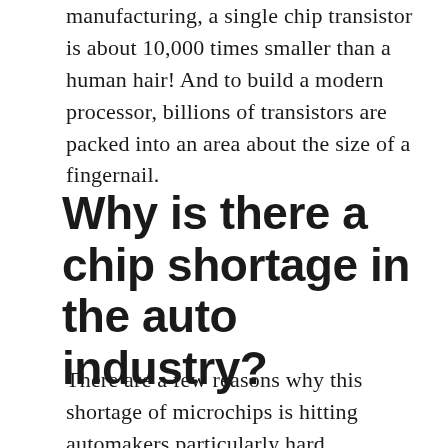manufacturing, a single chip transistor is about 10,000 times smaller than a human hair! And to build a modern processor, billions of transistors are packed into an area about the size of a fingernail.
Why is there a chip shortage in the auto industry?
There are a few reasons why this shortage of microchips is hitting automakers particularly hard.